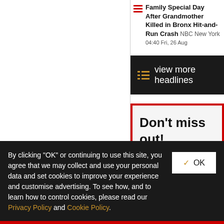Family Special Day After Grandmother Killed in Bronx Hit-and-Run Crash NBC New York 04:40 Fri, 26 Aug
view more headlines
Don't miss out! Get the day's top headlines delivered to your inbox
By clicking "OK" or continuing to use this site, you agree that we may collect and use your personal data and set cookies to improve your experience and customise advertising. To see how, and to learn how to control cookies, please read our Privacy Policy and Cookie Policy.